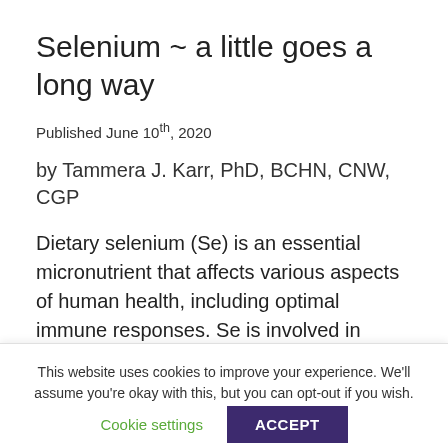Selenium ~ a little goes a long way
Published June 10th, 2020
by Tammera J. Karr, PhD, BCHN, CNW, CGP
Dietary selenium (Se) is an essential micronutrient that affects various aspects of human health, including optimal immune responses. Se is involved in regulating oxidative stress, redox, and other crucial cellular processes in nearly all tissues and
This website uses cookies to improve your experience. We'll assume you're okay with this, but you can opt-out if you wish.
Cookie settings
ACCEPT